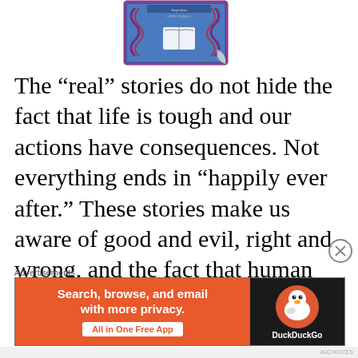[Figure (illustration): Book cover with decorative blue and red swirling pattern and an open book icon in the center, partially curled at the bottom right corner]
The “real” stories do not hide the fact that life is tough and our actions have consequences. Not everything ends in “happily ever after.” These stories make us aware of good and evil, right and wrong, and the fact that human beings and life in general can be gray
Advertisements
[Figure (screenshot): DuckDuckGo advertisement banner: orange left panel with text 'Search, browse, and email with more privacy. All in One Free App' and dark right panel with DuckDuckGo duck logo and brand name]